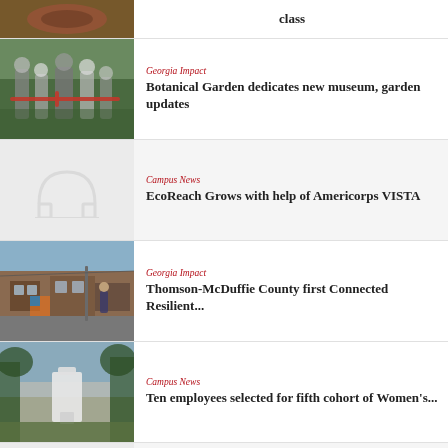[Figure (photo): Partial top news item thumbnail - aerial/garden view]
class
[Figure (photo): Group of people at a ribbon-cutting ceremony outdoors]
Georgia Impact
Botanical Garden dedicates new museum, garden updates
[Figure (illustration): UGA arch placeholder icon on gray background]
Campus News
EcoReach Grows with help of Americorps VISTA
[Figure (photo): Street view of Thomson-McDuffie County building]
Georgia Impact
Thomson-McDuffie County first Connected Resilient...
[Figure (photo): Outdoor campus scene with sculpture or sign]
Campus News
Ten employees selected for fifth cohort of Women's...
[Figure (illustration): UGA arch placeholder icon on gray background]
Campus News
2022 Service-Learning Excellence